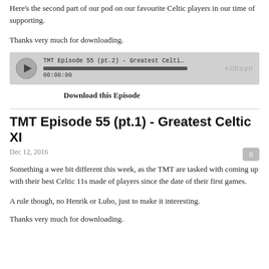Here's the second part of our pod on our favourite Celtic players in our time of supporting.
Thanks very much for downloading.
[Figure (other): Audio player widget showing TMT Episode 55 (pt.2) - Greatest Celtic XI cont.: A Celtic F... with playback bar at 00:00:00 and libsyn logo]
Download this Episode
TMT Episode 55 (pt.1) - Greatest Celtic XI
Dec 12, 2016
Something a wee bit different this week, as the TMT are tasked with coming up with their best Celtic 11s made of players since the date of their first games.
A rule though, no Henrik or Lubo, just to make it interesting.
Thanks very much for downloading.